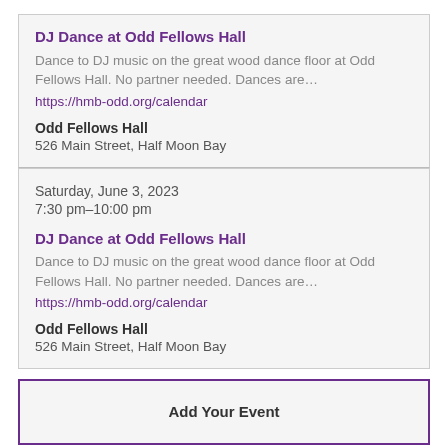DJ Dance at Odd Fellows Hall
Dance to DJ music on the great wood dance floor at Odd Fellows Hall. No partner needed. Dances are…
https://hmb-odd.org/calendar
Odd Fellows Hall
526 Main Street, Half Moon Bay
Saturday, June 3, 2023
7:30 pm–10:00 pm
DJ Dance at Odd Fellows Hall
Dance to DJ music on the great wood dance floor at Odd Fellows Hall. No partner needed. Dances are…
https://hmb-odd.org/calendar
Odd Fellows Hall
526 Main Street, Half Moon Bay
Add Your Event